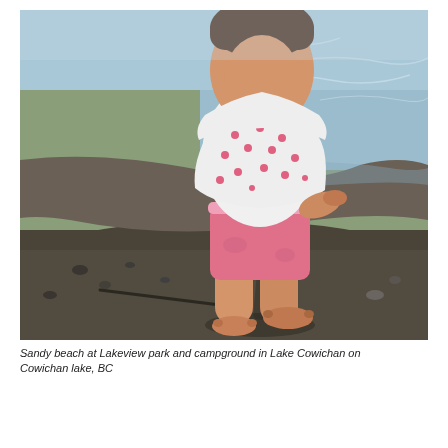[Figure (photo): A young toddler wearing a white polka-dot top and pink pants standing barefoot on a sandy beach at the water's edge. The lake water is visible in the background with ripples. The beach has dark sand and small pebbles.]
Sandy beach at Lakeview park and campground in Lake Cowichan on Cowichan lake, BC